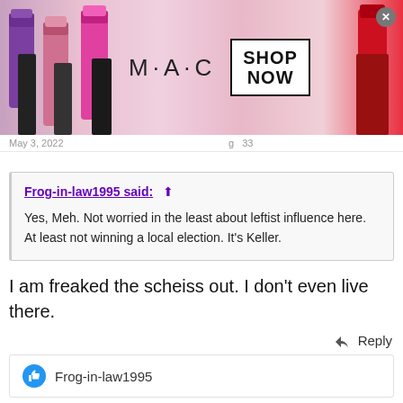[Figure (screenshot): MAC Cosmetics banner advertisement with lipsticks on left and right, MAC logo in center, SHOP NOW box]
May 3, 2022
Frog-in-law1995 said: ↑
Yes, Meh. Not worried in the least about leftist influence here. At least not winning a local election. It's Keller.
I am freaked the scheiss out. I don't even live there.
Reply
👍 Frog-in-law1995
[Figure (screenshot): Tally app advertisement: Fast credit card payoff with Download Now button]